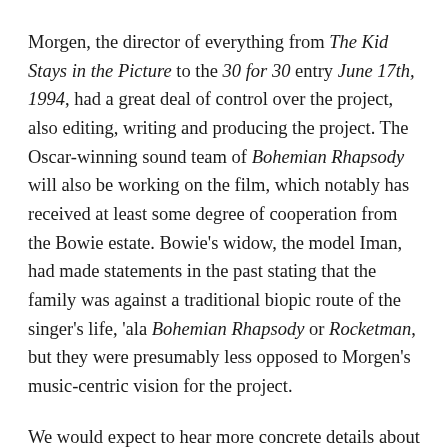Morgen, the director of everything from The Kid Stays in the Picture to the 30 for 30 entry June 17th, 1994, had a great deal of control over the project, also editing, writing and producing the project. The Oscar-winning sound team of Bohemian Rhapsody will also be working on the film, which notably has received at least some degree of cooperation from the Bowie estate. Bowie's widow, the model Iman, had made statements in the past stating that the family was against a traditional biopic route of the singer's life, 'ala Bohemian Rhapsody or Rocketman, but they were presumably less opposed to Morgen's music-centric vision for the project.
We would expect to hear more concrete details about this project, including a working title, in the near future. This January, meanwhile, will be the sixth anniversary of Bowie's